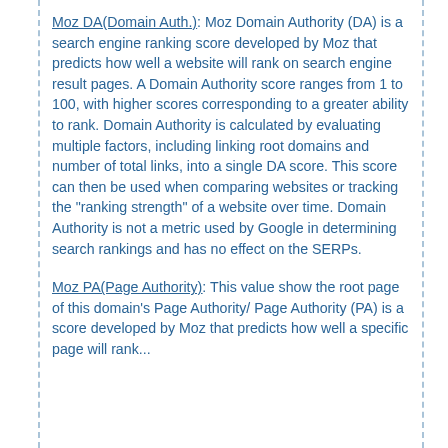Moz DA(Domain Auth.): Moz Domain Authority (DA) is a search engine ranking score developed by Moz that predicts how well a website will rank on search engine result pages. A Domain Authority score ranges from 1 to 100, with higher scores corresponding to a greater ability to rank. Domain Authority is calculated by evaluating multiple factors, including linking root domains and number of total links, into a single DA score. This score can then be used when comparing websites or tracking the "ranking strength" of a website over time. Domain Authority is not a metric used by Google in determining search rankings and has no effect on the SERPs.
Moz PA(Page Authority): This value show the root page of this domain's Page Authority/ Page Authority (PA) is a score developed by Moz that predicts how well a specific page will rank...